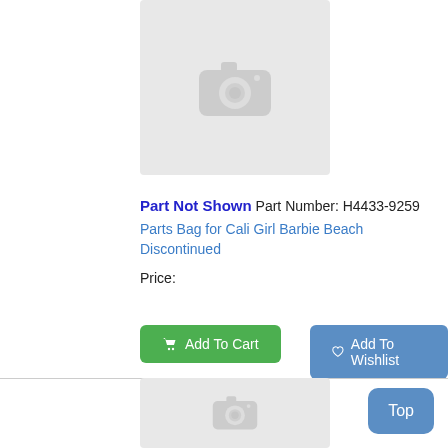[Figure (photo): Product image placeholder with grey background and camera icon (top)]
Part Not Shown Part Number: H4433-9259
Parts Bag for Cali Girl Barbie Beach Discontinued
Price:
Add To Cart
Add To Wishlist
[Figure (photo): Product image placeholder with grey background and camera icon (bottom)]
Top